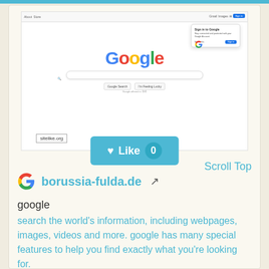[Figure (screenshot): Screenshot of Google homepage with Sign in to Google popup, showing the Google logo, search bar, Google Search and I'm Feeling Lucky buttons, and sitelike.org watermark]
[Figure (other): Light blue Like button with heart icon and count of 0]
Scroll Top
borussia-fulda.de
google
search the world's information, including webpages, images, videos and more. google has many special features to help you find exactly what you're looking for.